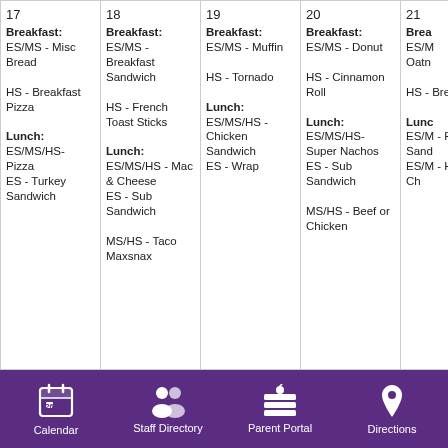| 17 | 18 | 19 | 20 | 21 |
| --- | --- | --- | --- | --- |
| Breakfast:
ES/MS - Misc Bread

HS - Breakfast Pizza

Lunch:
ES/MS/HS- Pizza
ES - Turkey Sandwich | Breakfast:
ES/MS - Breakfast Sandwich

HS - French Toast Sticks

Lunch:
ES/MS/HS - Mac & Cheese
ES - Sub Sandwich

MS/HS - Taco Maxsnax | Breakfast:
ES/MS - Muffin

HS - Tornado

Lunch:
ES/MS/HS - Chicken Sandwich
ES - Wrap | Breakfast:
ES/MS - Donut

HS - Cinnamon Roll

Lunch:
ES/MS/HS- Super Nachos
ES - Sub Sandwich

MS/HS - Beef or Chicken | Brea
ES/M Oatn

HS - Breal Taco

Lunc ES/M - Fish Sand
ES/M - Hot & Ch |
Calendar  Staff Directory  Parent Portal  Directions